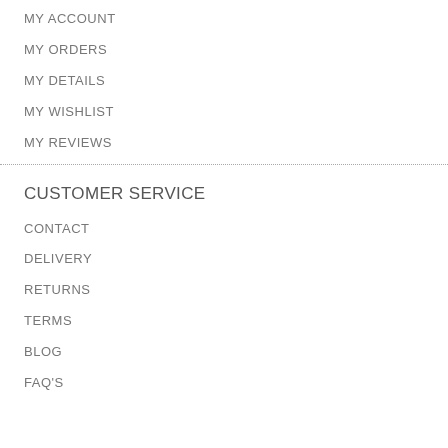MY ACCOUNT
MY ORDERS
MY DETAILS
MY WISHLIST
MY REVIEWS
CUSTOMER SERVICE
CONTACT
DELIVERY
RETURNS
TERMS
BLOG
FAQ'S